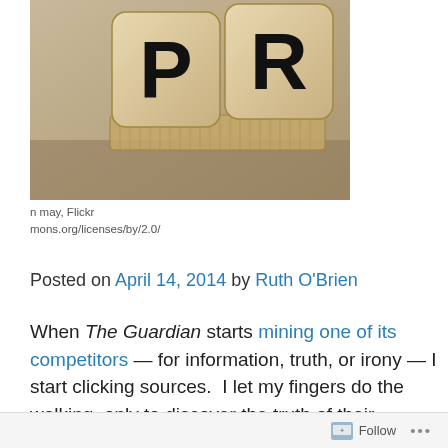[Figure (photo): Sepia-toned photo of two wooden dice with letters P and R, tied together with a ribbon or cord, suggesting PR (public relations)]
on may, Flickr
mons.org/licenses/by/2.0/
Posted on April 14, 2014 by Ruth O'Brien
When The Guardian starts mining one of its competitors — for information, truth, or irony — I start clicking sources.  I let my fingers do the walking, only to discover the truth of their
Follow ...